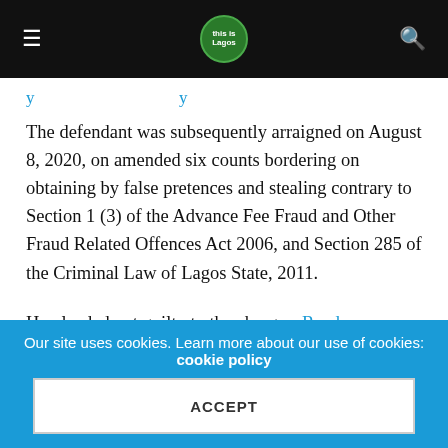This is Lagos — navigation bar with hamburger menu, logo, and search icon
y … … … … y
The defendant was subsequently arraigned on August 8, 2020, on amended six counts bordering on obtaining by false pretences and stealing contrary to Section 1 (3) of the Advance Fee Fraud and Other Fraud Related Offences Act 2006, and Section 285 of the Criminal Law of Lagos State, 2011.
He pleaded not guilty to the charges. Read more
Man kills wife, stabs self in Lagos (Sun)
Candid Estate community, Araromi Ale, in Badagry Local Government Area of Lagos State was thrown into
Our site uses cookies. Learn more about our use of cookies: cookie policy
ACCEPT